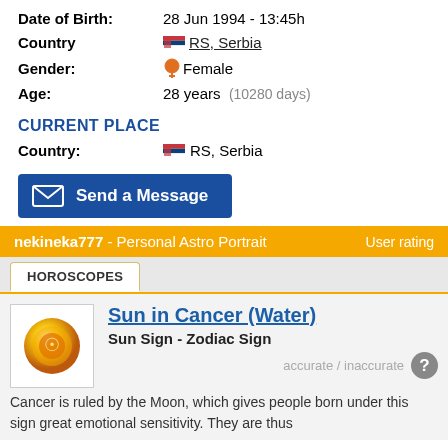Date of Birth: 28 Jun 1994 - 13:45h
Country RS, Serbia
Gender: Female
Age: 28 years (10280 days)
CURRENT PLACE
Country: RS, Serbia
Send a Message
nekineka777 - Personal Astro Portrait  User rating
HOROSCOPES
Sun in Cancer (Water)
Sun Sign - Zodiac Sign
accurate / inaccurate
Cancer is ruled by the Moon, which gives people born under this sign great emotional sensitivity. They are thus